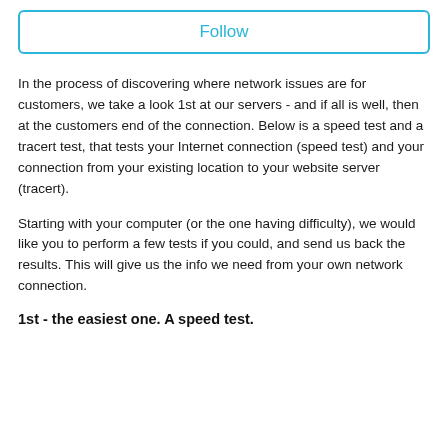[Figure (other): Follow button with cyan border]
In the process of discovering where network issues are for customers, we take a look 1st at our servers - and if all is well, then at the customers end of the connection. Below is a speed test and a tracert test, that tests your Internet connection (speed test) and your connection from your existing location to your website server (tracert).
Starting with your computer (or the one having difficulty), we would like you to perform a few tests if you could, and send us back the results. This will give us the info we need from your own network connection.
1st - the easiest one. A speed test.